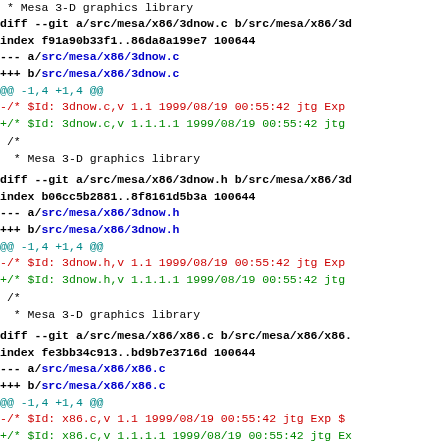* Mesa 3-D graphics library
diff --git a/src/mesa/x86/3dnow.c b/src/mesa/x86/3d
index f91a90b33f1..86da8a199e7 100644
--- a/src/mesa/x86/3dnow.c
+++ b/src/mesa/x86/3dnow.c
@@ -1,4 +1,4 @@
-/* $Id: 3dnow.c,v 1.1 1999/08/19 00:55:42 jtg Exp
+/* $Id: 3dnow.c,v 1.1.1.1 1999/08/19 00:55:42 jtg
/*
  * Mesa 3-D graphics library
diff --git a/src/mesa/x86/3dnow.h b/src/mesa/x86/3d
index b06cc5b2881..8f8161d5b3a 100644
--- a/src/mesa/x86/3dnow.h
+++ b/src/mesa/x86/3dnow.h
@@ -1,4 +1,4 @@
-/* $Id: 3dnow.h,v 1.1 1999/08/19 00:55:42 jtg Exp
+/* $Id: 3dnow.h,v 1.1.1.1 1999/08/19 00:55:42 jtg
/*
  * Mesa 3-D graphics library
diff --git a/src/mesa/x86/x86.c b/src/mesa/x86/x86.
index fe3bb34c913..bd9b7e3716d 100644
--- a/src/mesa/x86/x86.c
+++ b/src/mesa/x86/x86.c
@@ -1,4 +1,4 @@
-/* $Id: x86.c,v 1.1 1999/08/19 00:55:42 jtg Exp $
+/* $Id: x86.c,v 1.1.1.1 1999/08/19 00:55:42 jtg Ex